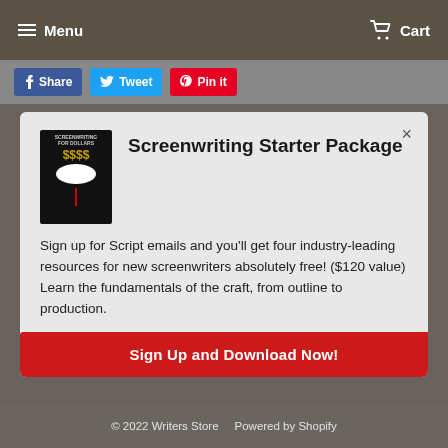Menu   Cart
[Figure (screenshot): Social sharing buttons: Share (Facebook), Tweet (Twitter), Pin it (Pinterest)]
[Figure (illustration): Modal popup with book cover image for Screenwriting Starter Package]
Screenwriting Starter Package
Sign up for Script emails and you'll get four industry-leading resources for new screenwriters absolutely free! ($120 value) Learn the fundamentals of the craft, from outline to production.
Sign Up and Download Now!
Script University Classes
Script Magazine
Terms of Service
Privacy Policy
Contact Us
Refund Policy
© 2022 Writers Store    Powered by Shopify